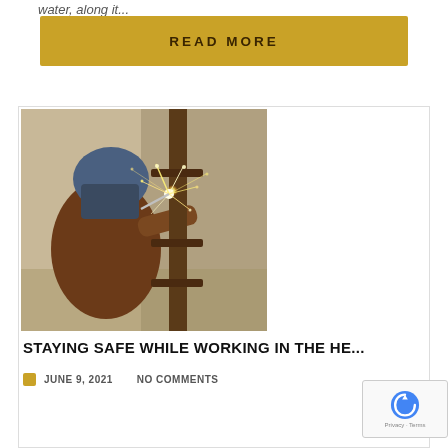water, along it...
READ MORE
[Figure (photo): A welder wearing a protective helmet and brown protective gear welding a metal pole or post against a wall, with sparks flying from the weld point.]
STAYING SAFE WHILE WORKING IN THE HE...
JUNE 9, 2021    NO COMMENTS